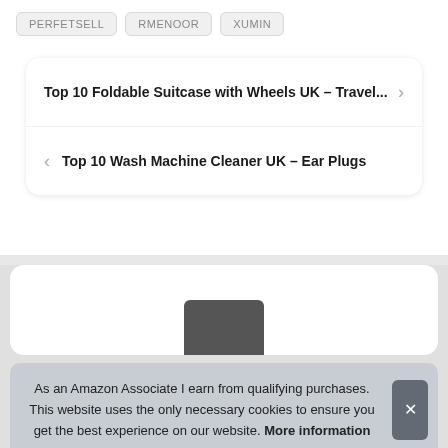PERFETSELL
RMENOOR
XUMIN
Top 10 Foldable Suitcase with Wheels UK – Travel...
Top 10 Wash Machine Cleaner UK – Ear Plugs
As an Amazon Associate I earn from qualifying purchases. This website uses the only necessary cookies to ensure you get the best experience on our website. More information